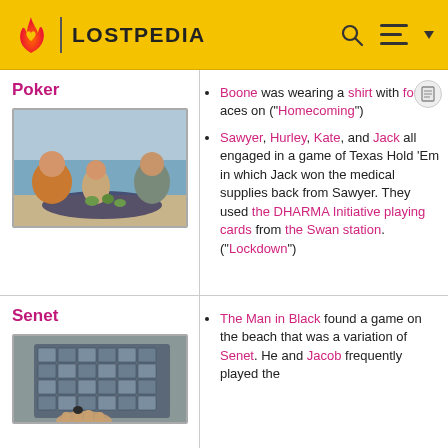LOSTPEDIA
Poker
[Figure (photo): Three people sitting on a beach around a blanket with green objects, playing cards or a game.]
Boone was wearing a shirt with four aces on ("Homecoming")
Sawyer, Hurley, Kate, and Jack all engaged in a game of Texas Hold 'Em in which Jack won the medical supplies back from Sawyer. They used the DHARMA Initiative playing cards from the Swan station. ("Lockdown")
Senet
[Figure (photo): A close-up of a hand holding a game piece over a board game with a grid of square tiles, on a beach.]
The Man in Black found a game on the beach that was a variation of Senet. He and Jacob frequently played the